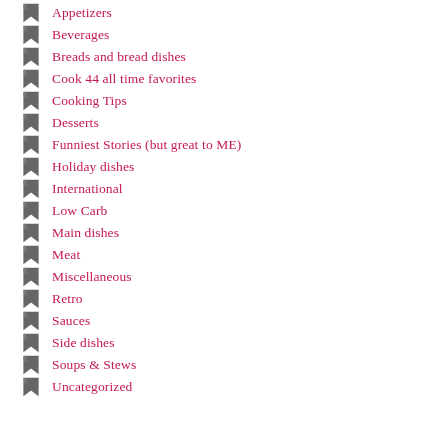Appetizers
Beverages
Breads and bread dishes
Cook 44 all time favorites
Cooking Tips
Desserts
Funniest Stories (but great to ME)
Holiday dishes
International
Low Carb
Main dishes
Meat
Miscellaneous
Retro
Sauces
Side dishes
Soups & Stews
Uncategorized